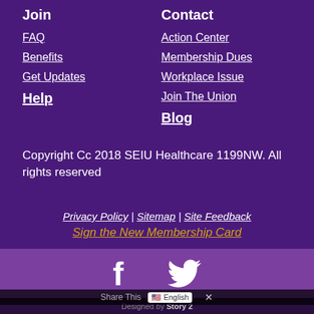Join
FAQ
Benefits
Get Updates
Help
Contact
Action Center
Membership Dues
Workplace Issue
Join The Union
Blog
Copyright Cc 2018 SEIU Healthcare 1199NW. All rights reserved
Privacy Policy | Sitemap | Site Feedback
Sign the New Membership Card
[Figure (other): Social media icons: Facebook and Twitter]
Designed by Story 2
Share This  English